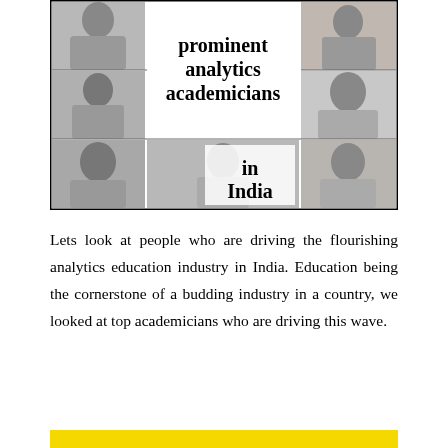[Figure (infographic): A collage banner with 6 black-and-white portrait photos arranged in a grid with bold text in the center reading 'prominent analytics academicians in India']
Lets look at people who are driving the flourishing analytics education industry in India. Education being the cornerstone of a budding industry in a country, we looked at top academicians who are driving this wave.